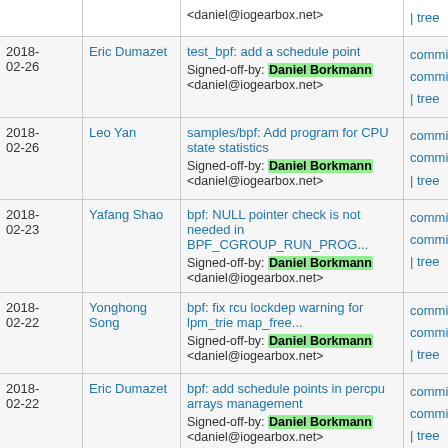| Date | Author | Commit message | Links |
| --- | --- | --- | --- |
|  |  | <daniel@iogearbox.net> | | tree |
| 2018-02-26 | Eric Dumazet | test_bpf: add a schedule point
Signed-off-by: Daniel Borkmann <daniel@iogearbox.net> | commit | commitdiff | tree |
| 2018-02-26 | Leo Yan | samples/bpf: Add program for CPU state statistics
Signed-off-by: Daniel Borkmann <daniel@iogearbox.net> | commit | commitdiff | tree |
| 2018-02-23 | Yafang Shao | bpf: NULL pointer check is not needed in BPF_CGROUP_RUN_PROG...
Signed-off-by: Daniel Borkmann <daniel@iogearbox.net> | commit | commitdiff | tree |
| 2018-02-22 | Yonghong Song | bpf: fix rcu lockdep warning for lpm_trie map_free...
Signed-off-by: Daniel Borkmann <daniel@iogearbox.net> | commit | commitdiff | tree |
| 2018-02-22 | Eric Dumazet | bpf: add schedule points in percpu arrays management
Signed-off-by: Daniel Borkmann <daniel@iogearbox.net> | commit | commitdiff | tree |